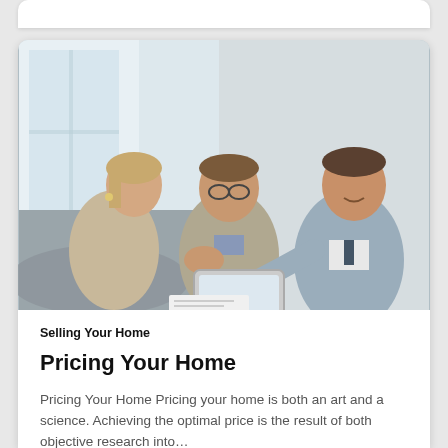[Figure (photo): Three people sitting together on a sofa looking at a tablet. A man in a grey suit on the right is pointing at or presenting information on the tablet to a woman and a man seated on the left. Professional real estate consultation scene.]
Selling Your Home
Pricing Your Home
Pricing Your Home Pricing your home is both an art and a science. Achieving the optimal price is the result of both objective research into…